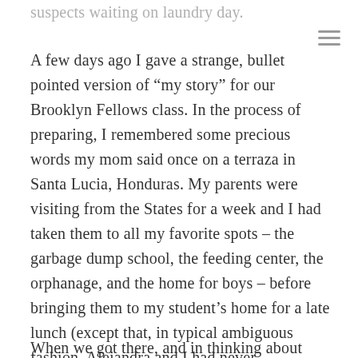suspects waiting on laundry day.
A few days ago I gave a strange, bullet pointed version of “my story” for our Brooklyn Fellows class. In the process of preparing, I remembered some precious words my mom said once on a terraza in Santa Lucia, Honduras. My parents were visiting from the States for a week and I had taken them to all my favorite spots – the garbage dump school, the feeding center, the orphanage, and the home for boys – before bringing them to my student’s home for a late lunch (except that, in typical ambiguous fashion, Alejandra and I had never communicated or confirmed this plan… so my dad ended up eating a LOT of pastel (cake) and coffee in the absence of meat).
When we got there, and in thinking about some